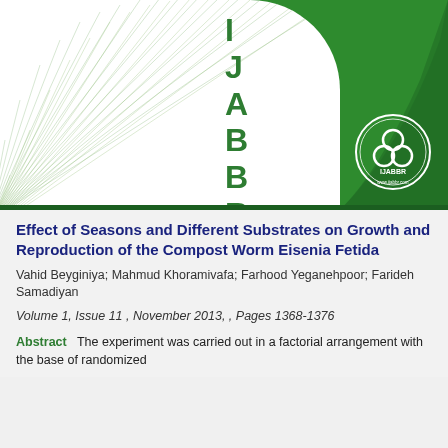[Figure (logo): IJABBR journal cover with green background, white curved area with decorative fan lines, vertical IJABBR text in green, and circular IJABBR logo with trefoil symbol]
Effect of Seasons and Different Substrates on Growth and Reproduction of the Compost Worm Eisenia Fetida
Vahid Beyginiya; Mahmud Khoramivafa; Farhood Yeganehpoor; Farideh Samadiyan
Volume 1, Issue 11 , November 2013, , Pages 1368-1376
Abstract   The experiment was carried out in a factorial arrangement with the base of randomized